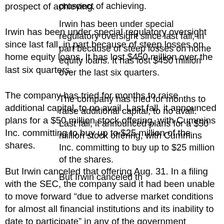prospect of achieving.
Irwin has been under special regulatory oversight since last fall, in part because of steep losses on home equity loans. It has lost $450 million over the last six quarters.
The company has tried for months to raise additional capital, to no avail. Last fall, it announced plans for a $50 million stock offering, with Cummins Inc. committing to buy up to $25 million of the shares.
But Irwin canceled that offering Aug. 31. In a filing with the SEC, the company said it had been unable to move forward “due to adverse market conditions for almost all financial institutions and its inability to date to participate” in any of the government programs aiding the ailing industry.
Irwin traces its roots the Civil War era. It help fund the launch of Cummins and the auto parts company that became Arvin Industries. Arvin was